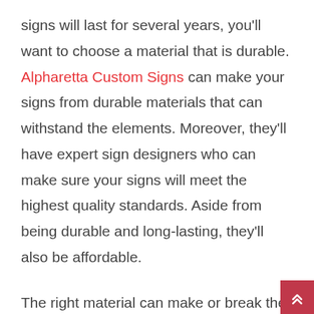signs will last for several years, you'll want to choose a material that is durable. Alpharetta Custom Signs can make your signs from durable materials that can withstand the elements. Moreover, they'll have expert sign designers who can make sure your signs will meet the highest quality standards. Aside from being durable and long-lasting, they'll also be affordable.
The right material can make or break the success of your signage. A good quality material will ensure that your sign blends in with other signs in your area, and it will be visually appealing to your customers. In addition, the right material will help the sign blend in with your existing signage. While the material of a sign